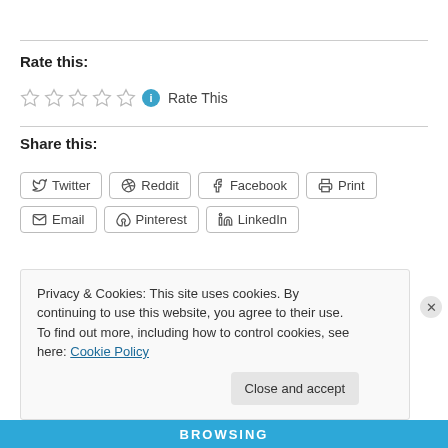Rate this:
[Figure (other): Five empty star rating icons followed by an info icon and 'Rate This' text]
Share this:
[Figure (other): Share buttons: Twitter, Reddit, Facebook, Print, Email, Pinterest, LinkedIn]
Privacy & Cookies: This site uses cookies. By continuing to use this website, you agree to their use. To find out more, including how to control cookies, see here: Cookie Policy
Close and accept